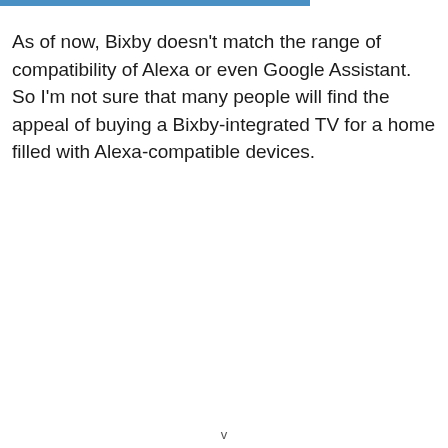As of now, Bixby doesn't match the range of compatibility of Alexa or even Google Assistant. So I'm not sure that many people will find the appeal of buying a Bixby-integrated TV for a home filled with Alexa-compatible devices.
v